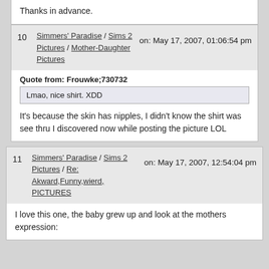Thanks in advance.
10  Simmers' Paradise / Sims 2 Pictures / Mother-Daughter Pictures  on: May 17, 2007, 01:06:54 pm
Quote from: Frouwke;730732
Lmao, nice shirt. XDD
It's because the skin has nipples, I didn't know the shirt was see thru I discovered now while posting the picture LOL
11  Simmers' Paradise / Sims 2 Pictures / Re: Akward,Funny,wierd, PICTURES  on: May 17, 2007, 12:54:04 pm
I love this one, the baby grew up and look at the mothers expression: